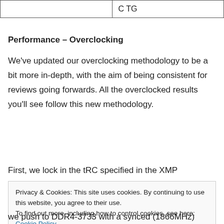|  | C TG |
Performance – Overclocking
We've updated our overclocking methodology to be a bit more in-depth, with the aim of being consistent for reviews going forwards. All the overclocked results you'll see follow this new methodology.
First, we lock in the tRC specified in the XMP
Privacy & Cookies: This site uses cookies. By continuing to use this website, you agree to their use.
To find out more, including how to control cookies, see here: Cookie Policy
we push to DDR4-3733 with a synced (1866MHz)